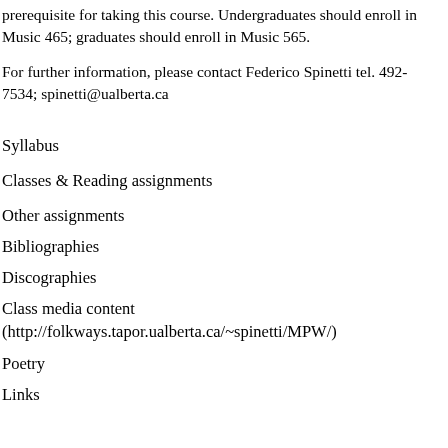prerequisite for taking this course. Undergraduates should enroll in Music 465; graduates should enroll in Music 565.
For further information, please contact Federico Spinetti tel. 492-7534; spinetti@ualberta.ca
Syllabus
Classes & Reading assignments
Other assignments
Bibliographies
Discographies
Class media content (http://folkways.tapor.ualberta.ca/~spinetti/MPW/)
Poetry
Links